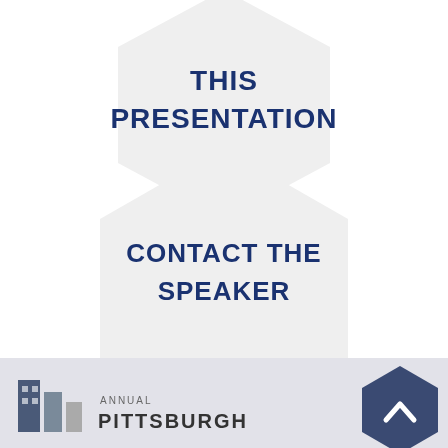[Figure (infographic): Two light gray hexagons stacked vertically. The top hexagon contains the bold dark blue uppercase text 'THIS PRESENTATION'. The bottom larger hexagon contains the bold dark blue uppercase text 'CONTACT THE SPEAKER'.]
[Figure (logo): Footer area with light gray background. Left side: building/cityscape icon in gray/blue tones, next to text 'ANNUAL' in small caps and 'PITTSBURGH' in large bold uppercase. Right side: dark navy hexagon with white upward-pointing chevron/arrow symbol.]